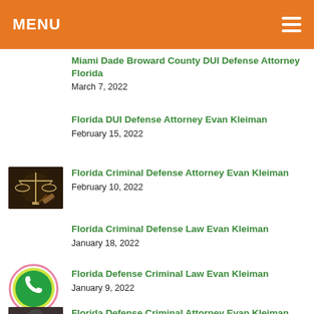MENU
Miami Dade Broward County DUI Defense Attorney Florida
March 7, 2022
Florida DUI Defense Attorney Evan Kleiman
February 15, 2022
Florida Criminal Defense Attorney Evan Kleiman
February 10, 2022
Florida Criminal Defense Law Evan Kleiman
January 18, 2022
Florida Defense Criminal Law Evan Kleiman
January 9, 2022
Florida Defense Criminal Attorney Evan Kleiman, P.A.